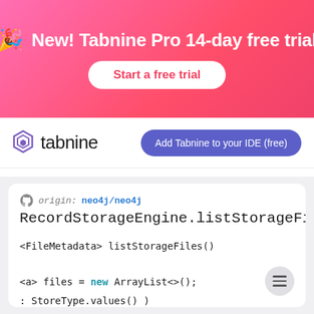New! Tabnine Pro 14-day free trial
Start a free trial
[Figure (logo): Tabnine logo with hexagonal icon and Add Tabnine to your IDE (free) button]
origin: neo4j/neo4j
RecordStorageEngine.listStorageFiles()
<FileMetadata> listStorageFiles()
<a> files = new ArrayList<>();
: StoreType.values() )
:StoreType.COUNTS ) )